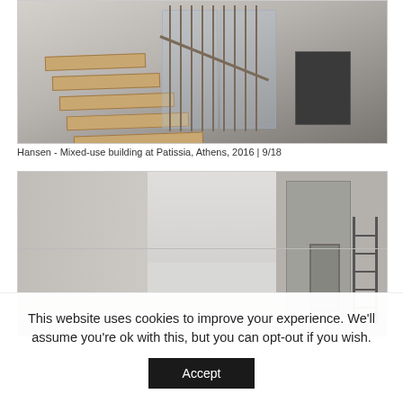[Figure (photo): Interior architectural photo showing a staircase with wooden steps and metal/glass railing in a mixed-use building]
Hansen - Mixed-use building at Patissia, Athens, 2016 | 9/18
[Figure (photo): Interior architectural photo showing a minimalist room with white walls, a tall cabinet or partition element, and a ladder visible in the background]
This website uses cookies to improve your experience. We'll assume you're ok with this, but you can opt-out if you wish.